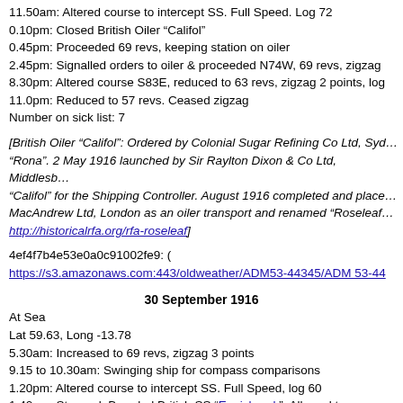11.50am: Altered course to intercept SS. Full Speed. Log 72
0.10pm: Closed British Oiler “Califol”
0.45pm: Proceeded 69 revs, keeping station on oiler
2.45pm: Signalled orders to oiler & proceeded N74W, 69 revs, zigzag
8.30pm: Altered course S83E, reduced to 63 revs, zigzag 2 points, log
11.0pm: Reduced to 57 revs. Ceased zigzag
Number on sick list: 7
[British Oiler “Califol”: Ordered by Colonial Sugar Refining Co Ltd, Sydney, originally named “Rona”. 2 May 1916 launched by Sir Raylton Dixon & Co Ltd, Middlesbrough under name “Califol” for the Shipping Controller. August 1916 completed and placed under management of MacAndrew Ltd, London as an oiler transport and renamed “Roseleaf”. http://historicalrfa.org/rfa-roseleaf]
4ef4f7b4e53e0a0c91002fe9: (
https://s3.amazonaws.com:443/oldweather/ADM53-44345/ADM 53-44
30 September 1916
At Sea
Lat 59.63, Long -13.78
5.30am: Increased to 69 revs, zigzag 3 points
9.15 to 10.30am: Swinging ship for compass comparisons
1.20pm: Altered course to intercept SS. Full Speed, log 60
1.40pm: Stopped. Boarded British SS “Ennisbrook”. Allowed to proceed
2.40pm: Set course S85W, 69 revs, zigzag 3 points, log 64
6.20pm: Altered course to intercept SS
6.30pm: Boarded Dutch SS “Parkhaven”
8.0pm: Awaiting order from S.O.
8.30pm: Sent “Parkhaven” to Stornoway with armed guard, Sub Lieut
9.50pm: Proceeded S88E, 63 revs, zigzag 2 points